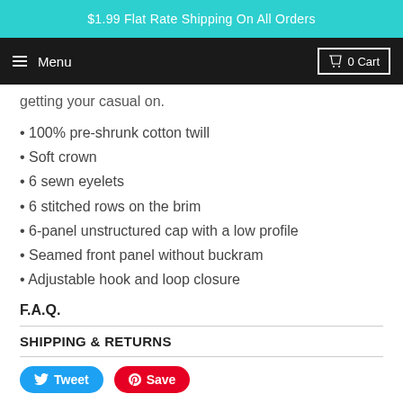$1.99 Flat Rate Shipping On All Orders
Menu  0 Cart
getting your casual on.
100% pre-shrunk cotton twill
Soft crown
6 sewn eyelets
6 stitched rows on the brim
6-panel unstructured cap with a low profile
Seamed front panel without buckram
Adjustable hook and loop closure
F.A.Q.
SHIPPING & RETURNS